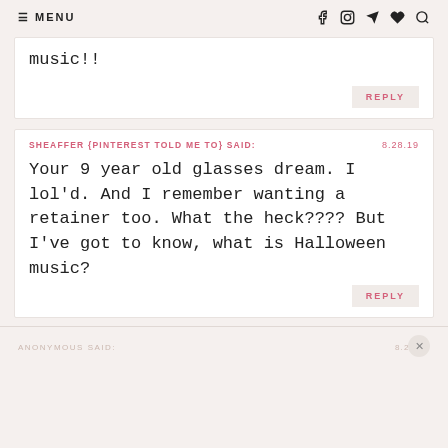≡ MENU  [social icons]
music!!
REPLY
SHEAFFER {PINTEREST TOLD ME TO} SAID:   8.28.19
Your 9 year old glasses dream. I lol'd. And I remember wanting a retainer too. What the heck???? But I've got to know, what is Halloween music?
REPLY
ANONYMOUS SAID:   8.28.19